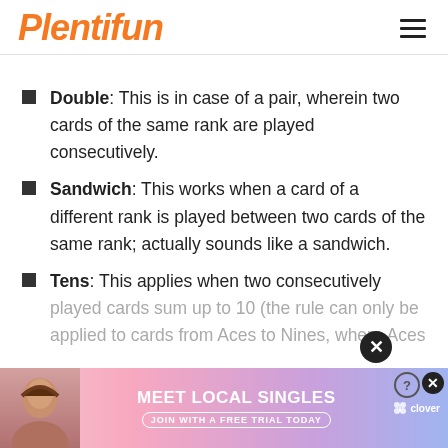Plentifun
Double: This is in case of a pair, wherein two cards of the same rank are played consecutively.
Sandwich: This works when a card of a different rank is played between two cards of the same rank; actually sounds like a sandwich.
Tens: This applies when two consecutively played cards sum up to 10 (the rule can only be applied to cards from Aces to Nines, where Aces
[Figure (infographic): Advertisement banner: Meet Local Singles, Join with a free trial today, Clover app, with photo of woman and pink/purple gradient background.]